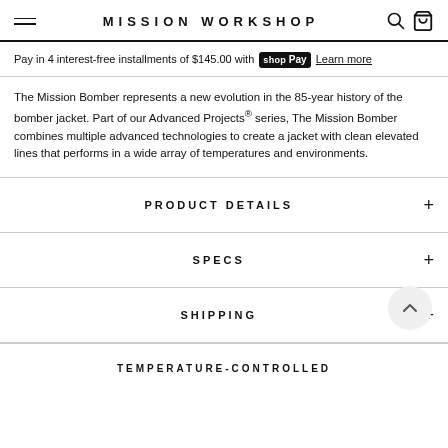MISSION WORKSHOP
Pay in 4 interest-free installments of $145.00 with shop Pay Learn more
The Mission Bomber represents a new evolution in the 85-year history of the bomber jacket. Part of our Advanced Projects® series, The Mission Bomber combines multiple advanced technologies to create a jacket with clean elevated lines that performs in a wide array of temperatures and environments.
PRODUCT DETAILS
SPECS
SHIPPING
TEMPERATURE-CONTROLLED